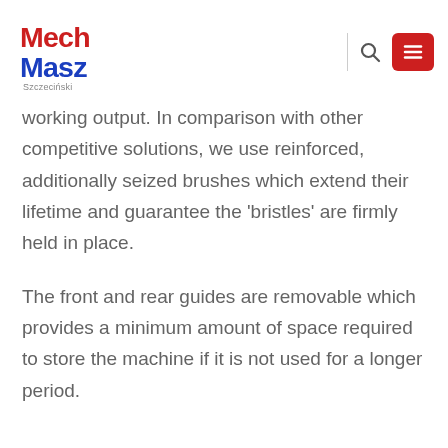MechMasz Szczeciński logo with search and menu navigation
working output. In comparison with other competitive solutions, we use reinforced, additionally seized brushes which extend their lifetime and guarantee the 'bristles' are firmly held in place.
The front and rear guides are removable which provides a minimum amount of space required to store the machine if it is not used for a longer period.